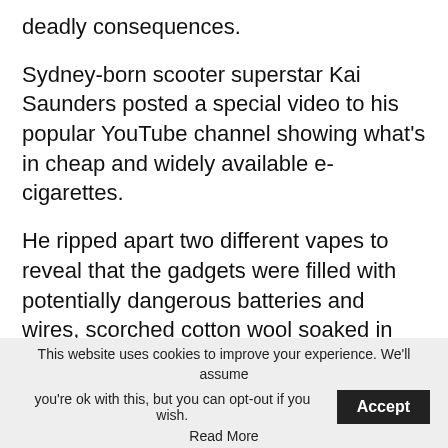deadly consequences.
Sydney-born scooter superstar Kai Saunders posted a special video to his popular YouTube channel showing what's in cheap and widely available e-cigarettes.
He ripped apart two different vapes to reveal that the gadgets were filled with potentially dangerous batteries and wires, scorched cotton wool soaked in chemicals, and pipes clogged with ash-like residue.
This website uses cookies to improve your experience. We'll assume you're ok with this, but you can opt-out if you wish. Accept Read More